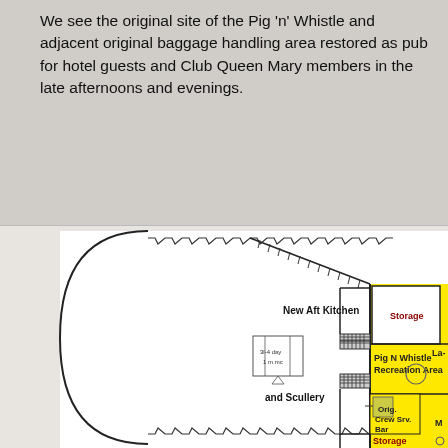We see the original site of the Pig 'n' Whistle and adjacent original baggage handling area restored as pub for hotel guests and Club Queen Mary members in the late afternoons and evenings.
[Figure (schematic): Floor plan diagram showing the aft section of the Queen Mary ship. Includes labeled areas: New Aft Kitchen, and Scullery, Storage (two instances), Pig N Whistle Recreation Area, Orig. Crew Srv. Bar, and La- (partially visible). The aft end shows the curved hull profile. Yellow highlighted area indicates the Pig N Whistle and related spaces. Various rooms and corridors are shown with walls, stairs, and hatching details.]